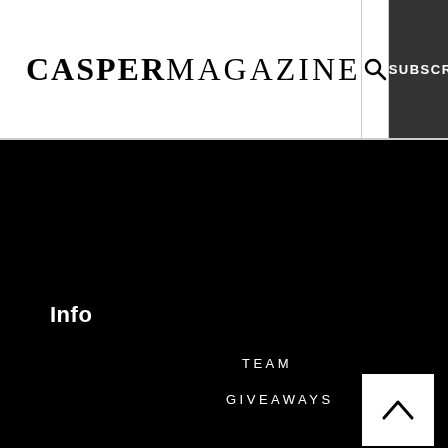CASPERMAGAZINE
SUBSCRIBE
Info
TEAM
GIVEAWAYS